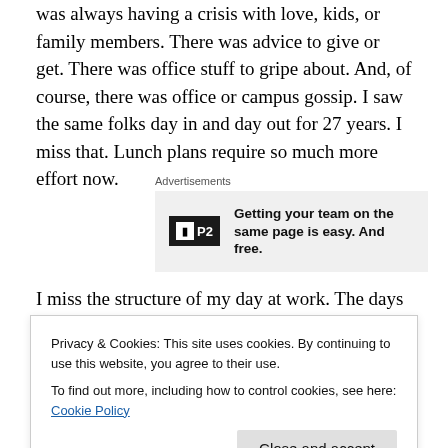was always having a crisis with love, kids, or family members. There was advice to give or get. There was office stuff to gripe about. And, of course, there was office or campus gossip. I saw the same folks day in and day out for 27 years. I miss that. Lunch plans require so much more effort now.
[Figure (other): Advertisement banner for P2 product: 'Getting your team on the same page is easy. And free.' with P2 logo]
I miss the structure of my day at work. The days had a definite rhythm, predictability, and definite deadlines. I do
Privacy & Cookies: This site uses cookies. By continuing to use this website, you agree to their use.
To find out more, including how to control cookies, see here: Cookie Policy
much more efficient and productive when I was working.